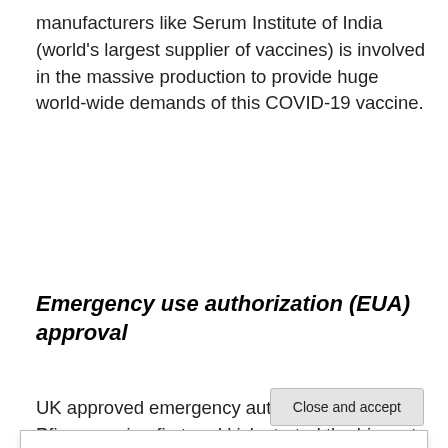manufacturers like Serum Institute of India (world's largest supplier of vaccines) is involved in the massive production to provide huge world-wide demands of this COVID-19 vaccine.
Emergency use authorization (EUA) approval
UK approved emergency authorization of the Pfizer vaccine first and kick started the biggest vaccine program
Privacy & Cookies: This site uses cookies. By continuing to use this website, you agree to their use.
To find out more, including how to control cookies, see here: Cookie Policy